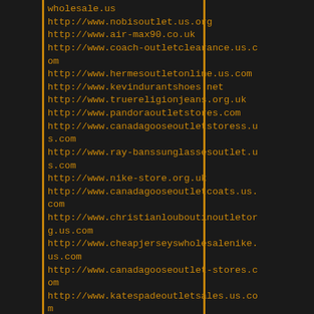wholesale.us
http://www.nobisoutlet.us.org
http://www.air-max90.co.uk
http://www.coach-outletclearance.us.com
http://www.hermesoutletonline.us.com
http://www.kevindurantshoes.net
http://www.truereligionjeans.org.uk
http://www.pandoraoutletstores.com
http://www.canadagooseoutletstoress.us.com
http://www.ray-banssunglassesoutlet.us.com
http://www.nike-store.org.uk
http://www.canadagooseoutletcoats.us.com
http://www.christianlouboutinoutletorg.us.com
http://www.cheapjerseyswholesalenike.us.com
http://www.canadagooseoutlet-stores.com
http://www.katespadeoutletsales.us.com
http://www.coach-factoryoutlets.us.org
http://www.nhljerseysstore.us.com
http://www.coachoutletcoachoutletonline.us.com
http://www.pandoracharmsoutlets.us.com